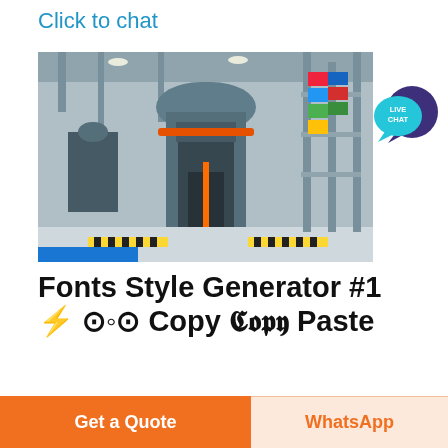Click to chat
[Figure (photo): Industrial machinery (vertical mill/grinder) inside a large factory/warehouse with flags visible in background]
[Figure (infographic): LIVE CHAT speech bubble badge in teal/dark blue]
Fonts Style Generator #1 ⚡ ⊙◦⊙ Copy 𝕮𝖔𝖕𝖞 Paste
Get or download the best cool symbols and text fonts style of Old English Japanese
Get a Quote
WhatsApp